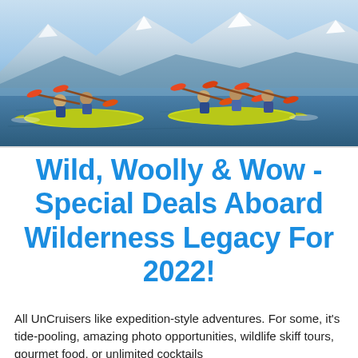[Figure (photo): Group of people kayaking in yellow-green kayaks on blue water with snow-capped mountains in background, using orange paddles, all wearing life jackets and helmets.]
Wild, Woolly & Wow - Special Deals Aboard Wilderness Legacy For 2022!
All UnCruisers like expedition-style adventures. For some, it's tide-pooling, amazing photo opportunities, wildlife skiff tours, gourmet food, or unlimited cocktails